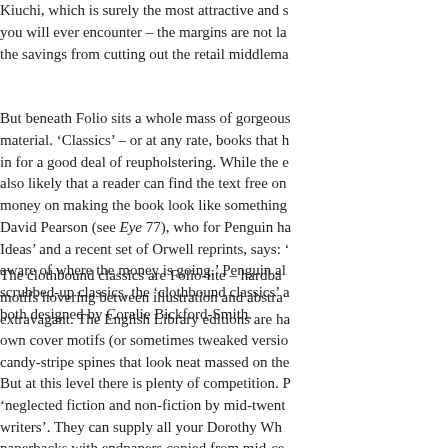Kiuchi, which is surely the most attractive and s... you will ever encounter – the margins are not la... the savings from cutting out the retail middlema...
But beneath Folio sits a whole mass of gorgeous material. 'Classics' – or at any rate, books that h... in for a good deal of reupholstering. While the e... also likely that a reader can find the text free on... money on making the book look like something... David Pearson (see Eye 77), who for Penguin ha... Ideas' and a recent set of Orwell reprints, says: '... aware of where the money is going.' Penguin al... scrubbed-up classics, the 'clothbound classics' a... both designed by Coralie Bickford-Smith.
The clothbound classics are Folio-lite – hardback motifs hovering between illustration and abstrac... extravagant. The English Library editions are ha... own cover motifs (or sometimes tweaked versio... candy-stripe spines that look neat massed on the...
But at this level there is plenty of competition. P... 'neglected fiction and non-fiction by mid-twenti... writers'. They can supply all your Dorothy Whi... paperbacks with endpapers copied from mid-ce... started out specialising in translated classics – S... rediscovery. Lately, under new management, P...